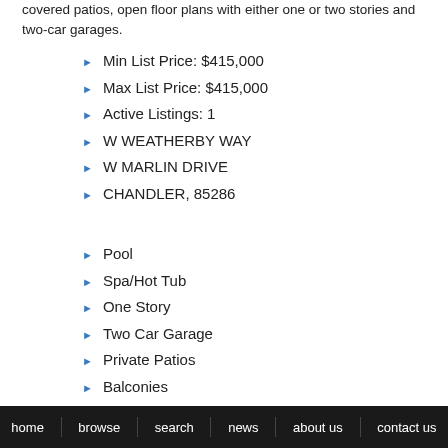covered patios, open floor plans with either one or two stories and two-car garages.
Min List Price: $415,000
Max List Price: $415,000
Active Listings: 1
W WEATHERBY WAY
W MARLIN DRIVE
CHANDLER, 85286
Pool
Spa/Hot Tub
One Story
Two Car Garage
Private Patios
Balconies
home   browse   search   news   about us   contact us